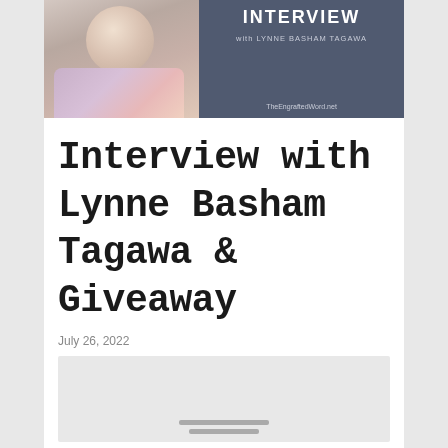[Figure (photo): Banner image showing a woman's headshot on the left side, and on the right a dark blue-grey panel with text 'INTERVIEW with LYNNE BASHAM TAGAWA' and 'TheEngraftedWord.net']
Interview with Lynne Basham Tagawa & Giveaway
July 26, 2022
[Figure (photo): Grey/white box with horizontal lines at bottom, partially visible content placeholder]